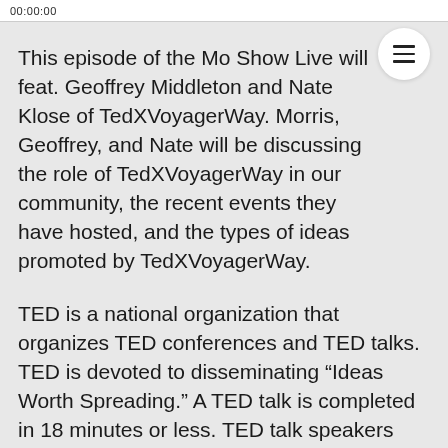00:00:00
This episode of the Mo Show Live will feat. Geoffrey Middleton and Nate Klose of TedXVoyagerWay. Morris, Geoffrey, and Nate will be discussing the role of TedXVoyagerWay in our community, the recent events they have hosted, and the types of ideas promoted by TedXVoyagerWay.
TED is a national organization that organizes TED conferences and TED talks. TED is devoted to disseminating “Ideas Worth Spreading.” A TED talk is completed in 18 minutes or less. TED talk speakers have included Roger Ebert, Bill Gates, and Sheryl Sandberg, amongst many more well-known